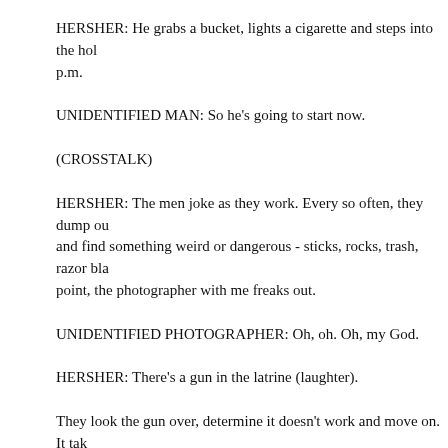HERSHER: He grabs a bucket, lights a cigarette and steps into the hole. It's 4:30 p.m.
UNIDENTIFIED MAN: So he's going to start now.
(CROSSTALK)
HERSHER: The men joke as they work. Every so often, they dump out the bucket and find something weird or dangerous - sticks, rocks, trash, razor blades. At one point, the photographer with me freaks out.
UNIDENTIFIED PHOTOGRAPHER: Oh, oh. Oh, my God.
HERSHER: There's a gun in the latrine (laughter).
They look the gun over, determine it doesn't work and move on. It takes about three hours for Gabriel to empty the hole. By the end, he's sweating and covered in human waste. His gloves are ripped.